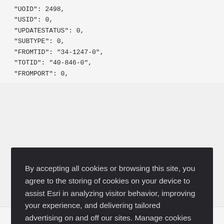"UOID": 2498,
"USID": 0,
"UPDATESTATUS": 0,
"SUBTYPE": 0,
"FROMTID": "34-1247-0",
"TOTID": "40-846-0",
"FROMPORT": 0,
By accepting all cookies or browsing this site, you agree to the storing of cookies on your device to assist Esri in analyzing visitor behavior, improving your experience, and delivering tailored advertising on and off our sites. Manage cookies here or at the bottom of any page.
Accept All Cookies
Cookies Settings
4079094.4506586604